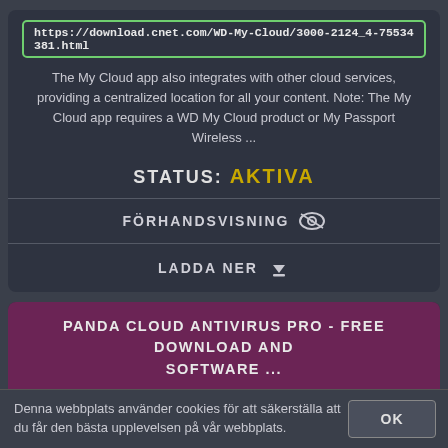https://download.cnet.com/WD-My-Cloud/3000-2124_4-75534381.html
The My Cloud app also integrates with other cloud services, providing a centralized location for all your content. Note: The My Cloud app requires a WD My Cloud product or My Passport Wireless ...
STATUS: AKTIVA
FÖRHANDSVISNING
LADDA NER
PANDA CLOUD ANTIVIRUS PRO - FREE DOWNLOAD AND SOFTWARE ...
https://download.cnet.com/Panda-Cloud-Antivirus-Pro/3000-2239_4-75
Panda Cloud Antivirus Pro 3 offers all the features and protection of its free
Denna webbplats använder cookies för att säkerställa att du får den bästa upplevelsen på vår webbplats.